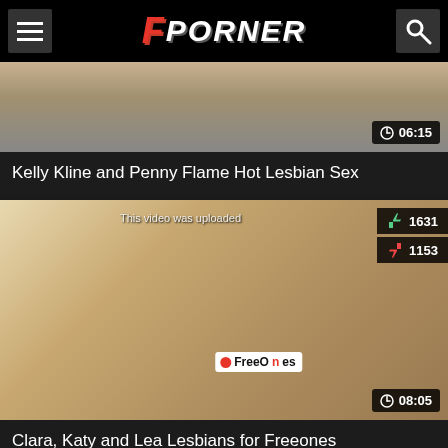FPORNER
[Figure (screenshot): Video thumbnail for Kelly Kline and Penny Flame Hot Lesbian Sex, duration 06:15]
Kelly Kline and Penny Flame Hot Lesbian Sex
[Figure (screenshot): Video thumbnail for Clara, Katy and Lea Lesbians for Freeones, showing two blonde women, likes 1631, dislikes 1153, duration 08:05]
Clara, Katy and Lea Lesbians for Freeones